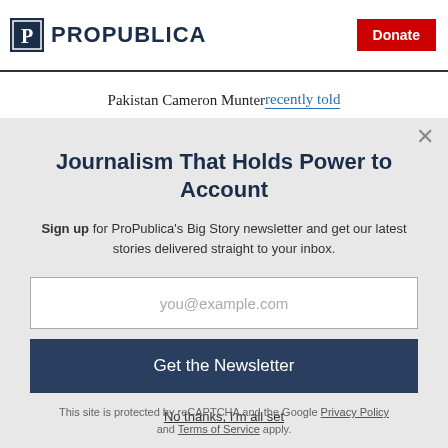ProPublica | Donate
Pakistan Cameron Munter recently told
Journalism That Holds Power to Account
Sign up for ProPublica's Big Story newsletter and get our latest stories delivered straight to your inbox.
you@example.com
Get the Newsletter
No thanks, I'm all set
This site is protected by reCAPTCHA and the Google Privacy Policy and Terms of Service apply.